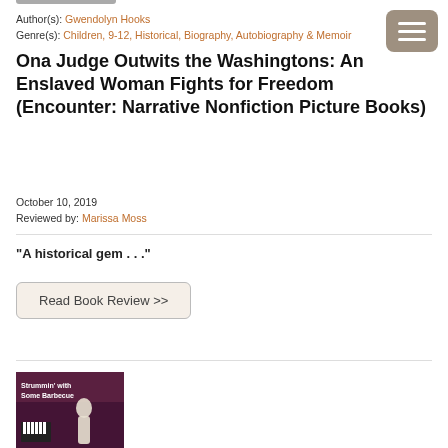Author(s): Gwendolyn Hooks
Genre(s): Children, 9-12, Historical, Biography, Autobiography & Memoir
Ona Judge Outwits the Washingtons: An Enslaved Woman Fights for Freedom (Encounter: Narrative Nonfiction Picture Books)
October 10, 2019
Reviewed by: Marissa Moss
“A historical gem . . .”
Read Book Review >>
[Figure (photo): Book cover of 'Strummin' with Some Barbecue' showing a woman in a white dress with musicians in the background on a dark purple/maroon background]